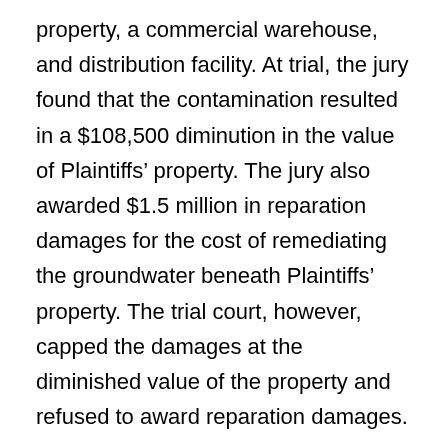property, a commercial warehouse, and distribution facility. At trial, the jury found that the contamination resulted in a $108,500 diminution in the value of Plaintiffs' property. The jury also awarded $1.5 million in reparation damages for the cost of remediating the groundwater beneath Plaintiffs' property. The trial court, however, capped the damages at the diminished value of the property and refused to award reparation damages.
The Court of Appeals affirmed the trial court's cap. The Court held that where the cost to restore the property is disproportionate to or greatly exceeds the diminution in value of the property, the proper